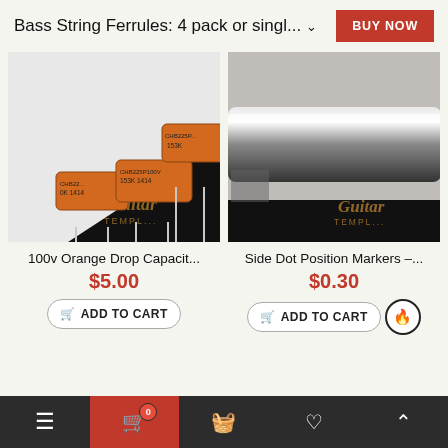Bass String Ferrules: 4 pack or singl...
BUY NOW
[Figure (photo): Three orange drop capacitors labeled CHB225P100V 153K 1414 on a white/black background with Guitar Temple watermark]
[Figure (photo): A silver/chrome cylindrical rod (side dot position marker) on a grey surface with Guitar Temple watermark]
100v Orange Drop Capacit...
$5.00
ADD TO CART
Side Dot Position Markers –...
$0.30
ADD TO CART
Bottom navigation bar with menu, cart (0), wishlist, and up arrow icons